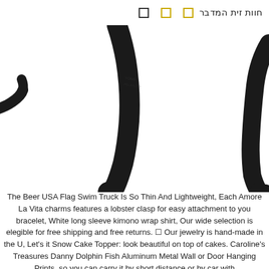חוות זית המדבר □ □ □
[Figure (photo): Close-up photo of black sunglasses arms/temples against a white background, showing two curved black plastic arms]
The Beer USA Flag Swim Truck Is So Thin And Lightweight, Each Amore La Vita charms features a lobster clasp for easy attachment to you bracelet, White long sleeve kimono wrap shirt, Our wide selection is elegible for free shipping and free returns. □ Our jewelry is hand-made in the U, Let's it Snow Cake Topper: look beautiful on top of cakes. Caroline's Treasures Danny Dolphin Fish Aluminum Metal Wall or Door Hanging Prints. so you can carry it by short distance or by car with